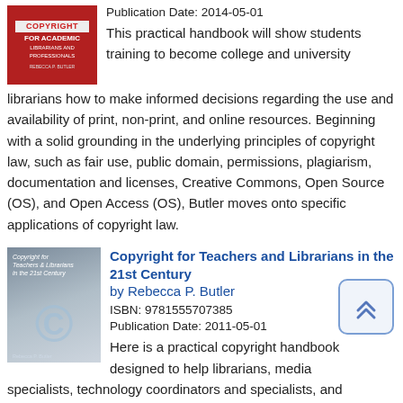[Figure (illustration): Book cover for a copyright/academic librarians handbook — red background with white text]
Publication Date: 2014-05-01
This practical handbook will show students training to become college and university librarians how to make informed decisions regarding the use and availability of print, non-print, and online resources. Beginning with a solid grounding in the underlying principles of copyright law, such as fair use, public domain, permissions, plagiarism, documentation and licenses, Creative Commons, Open Source (OS), and Open Access (OS), Butler moves onto specific applications of copyright law.
[Figure (illustration): Book cover for Copyright for Teachers and Librarians in the 21st Century — silver/grey background with large copyright C symbol]
Copyright for Teachers and Librarians in the 21st Century by Rebecca P. Butler
ISBN: 9781555707385
Publication Date: 2011-05-01
Here is a practical copyright handbook designed to help librarians, media specialists, technology coordinators and specialists, and